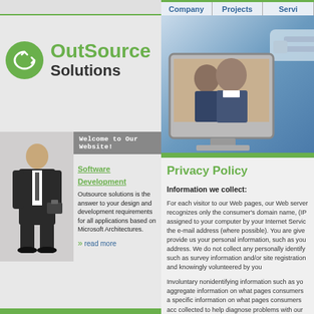Company | Projects | Servi
[Figure (logo): OutSource Solutions logo with green circular icon]
[Figure (photo): Person in business suit standing]
Welcome to Our Website!
Software Development
Outsource solutions is the answer to your design and development requirements for all applications based on Microsoft Architectures.
>> read more
[Figure (photo): Hero image showing two people looking at a laptop with a computer monitor and ethernet cable]
Privacy Policy
Information we collect:
For each visitor to our Web pages, our Web server recognizes only the consumer's domain name, (IP assigned to your computer by your Internet Service the e-mail address (where possible). You are given provide us your personal information, such as you address. We do not collect any personally identify such as survey information and/or site registration and knowingly volunteered by you
Involuntary nonidentifying information such as yo aggregate information on what pages consumers a specific information on what pages consumers acc collected to help diagnose problems with our co